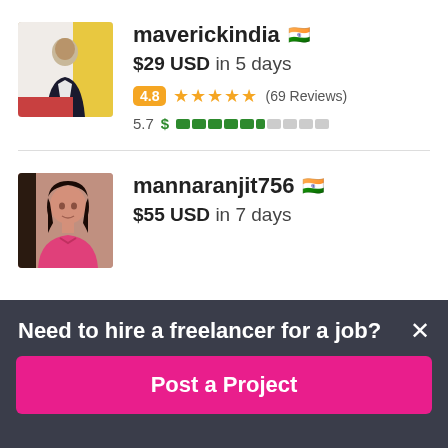maverickindia 🇮🇳 — $29 USD in 5 days — 4.8 rating (69 Reviews) — Score 5.7
mannaranjit756 🇮🇳 — $55 USD in 7 days
Need to hire a freelancer for a job?
Post a Project